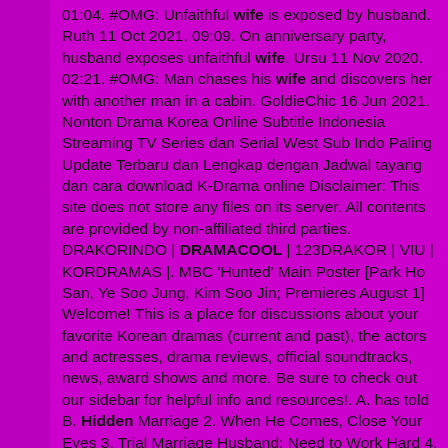01:04. #OMG: Unfaithful wife is exposed by husband. Ruth 11 Oct 2021. 09:09. On anniversary party, husband exposes unfaithful wife. Ursu 11 Nov 2020. 02:21. #OMG: Man chases his wife and discovers her with another man in a cabin. GoldieChic 16 Jun 2021. Nonton Drama Korea Online Subtitle Indonesia Streaming TV Series dan Serial West Sub Indo Paling Update Terbaru dan Lengkap dengan Jadwal tayang dan cara download K-Drama online Disclaimer: This site does not store any files on its server. All contents are provided by non-affiliated third parties. DRAKORINDO | DRAMACOOL | 123DRAKOR | VIU | KORDRAMAS |. MBC 'Hunted' Main Poster [Park Ho San, Ye Soo Jung, Kim Soo Jin; Premieres August 1] Welcome! This is a place for discussions about your favorite Korean dramas (current and past), the actors and actresses, drama reviews, official soundtracks, news, award shows and more. Be sure to check out our sidebar for helpful info and resources!. A. has told B. Hidden Marriage 2. When He Comes, Close Your Eyes 3. Trial Marriage Husband: Need to Work Hard 4. Perfect Secret Love: The Bad New Wife is a Little Sweet 5. To My Dear Mr. Huo 6. Forensic Doctor, Moe Wife 7. My Sweet Physician Wife Calls The Shots Rebirth/ Transmigration/ Amnesia 1. My Whole Family Are Villain (less romance and. 4. The King's Avatar (2019) 45 min | Action, Adventure. 8.2. Rate. Ye Xiu ( Yang Yang) is a